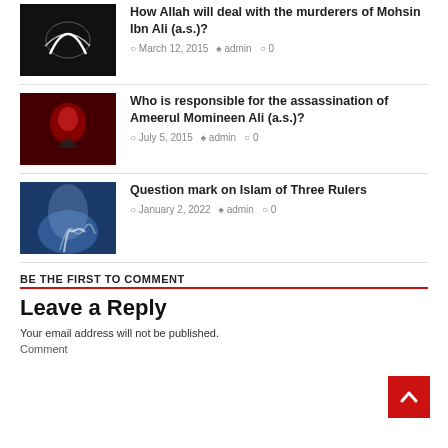[Figure (photo): Dark image with Arabic calligraphy in white on black background]
How Allah will deal with the murderers of Mohsin Ibn Ali (a.s.)?
March 12, 2015  admin  0
[Figure (photo): Dark red image with silhouette figure]
Who is responsible for the assassination of Ameerul Momineen Ali (a.s.)?
July 5, 2015  admin  0
[Figure (photo): Blue-toned mystical image with raised hand figure]
Question mark on Islam of Three Rulers
January 2, 2022  admin  0
BE THE FIRST TO COMMENT
Leave a Reply
Your email address will not be published.
Comment